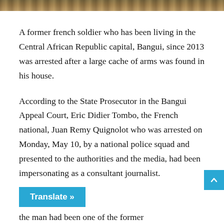[Figure (photo): Partial view of a photo strip at the top of the page showing a brownish outdoor scene]
A former french soldier who has been living in the Central African Republic capital, Bangui, since 2013 was arrested after a large cache of arms was found in his house.
According to the State Prosecutor in the Bangui Appeal Court, Eric Didier Tombo, the French national, Juan Remy Quignolot who was arrested on Monday, May 10, by a national police squad and presented to the authorities and the media, had been impersonating as a consultant journalist.
Translate »
the man had been one of the former